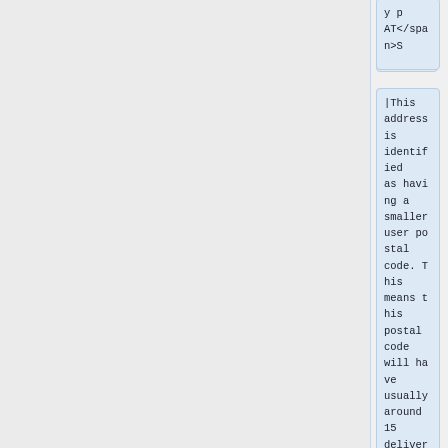AT</span>S
|This address is identified as having a smaller user postal code. This means this postal code will have usually around 15 delivery points but never more than 100.
|}
<h3>Switzerl